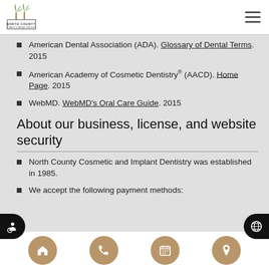North County Cosmetic and Implant Dentistry - logo and navigation
American Dental Association (ADA). Glossary of Dental Terms. 2015
American Academy of Cosmetic Dentistry® (AACD). Home Page. 2015
WebMD. WebMD's Oral Care Guide. 2015
About our business, license, and website security
North County Cosmetic and Implant Dentistry was established in 1985.
We accept the following payment methods:
Navigation: Home, Phone, Calendar, Location